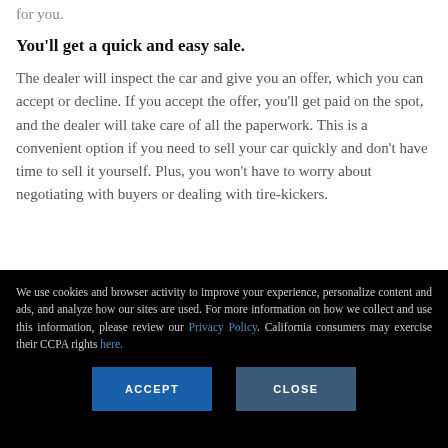for you.
You'll get a quick and easy sale.
The dealer will inspect the car and give you an offer, which you can accept or decline. If you accept the offer, you'll get paid on the spot, and the dealer will take care of all the paperwork. This is a convenient option if you need to sell your car quickly and don't have time to sell it yourself. Plus, you won't have to worry about negotiating with buyers or dealing with tire-kickers.
We use cookies and browser activity to improve your experience, personalize content and ads, and analyze how our sites are used. For more information on how we collect and use this information, please review our Privacy Policy. California consumers may exercise their CCPA rights here.